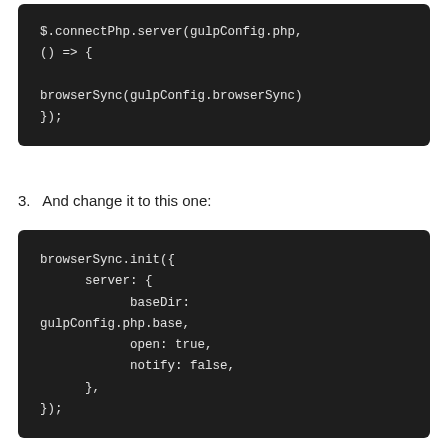[Figure (screenshot): Dark code block showing: $.connectPhp.server(gulpConfig.php, () => {  browserSync(gulpConfig.browserSync) });]
3.   And change it to this one:
[Figure (screenshot): Dark code block showing: browserSync.init({     server: {         baseDir: gulpConfig.php.base,         open: true,         notify: false,     }, });]